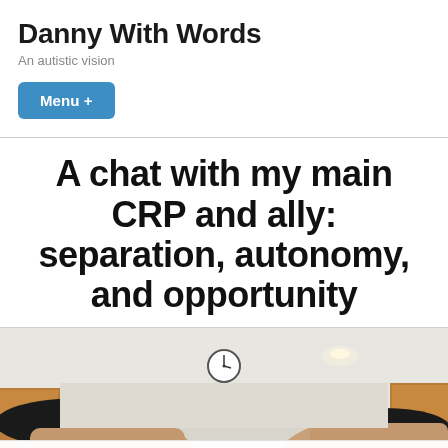Danny With Words
An autistic vision
Menu +
A chat with my main CRP and ally: separation, autonomy, and opportunity
[Figure (photo): Two people photographed from below/selfie angle in a kitchen/home interior, a wall clock visible in the background]
Follow ...